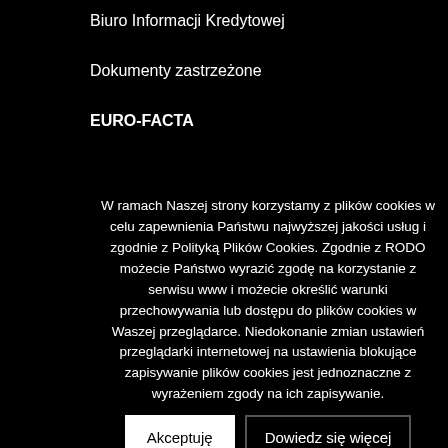Biuro Informacji Kredytowej
Dokumenty zastrzeżone
EURO-FACTA
Godziny graniczne przelewów
Ochrona danych osobowych
PSD2
Reklamacje
Zastrzeżenie kart
Fundusz Alimentacyjny dłużnikowi
W ramach Naszej strony korzystamy z plików cookies w celu zapewnienia Państwu najwyższej jakości usług i zgodnie z Polityką Plików Cookies. Zgodnie z RODO możecie Państwo wyrazić zgodę na korzystanie z serwisu www i możecie określić warunki przechowywania lub dostępu do plików cookies w Waszej przeglądarce. Niedokonanie zmian ustawień przeglądarki internetowej na ustawienia blokujące zapisywanie plików cookies jest jednoznaczne z wyrażeniem zgody na ich zapisywanie.
Akceptuję
Dowiedz się więcej
DOKUMENTY